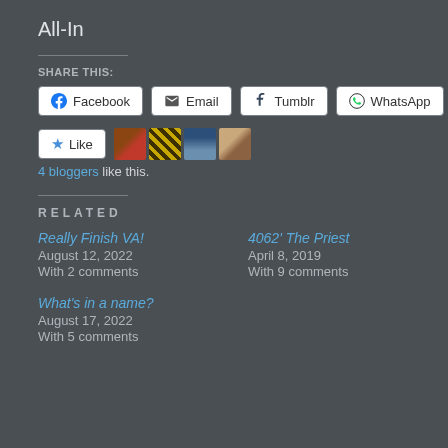All-In
SHARE THIS:
Facebook | Email | Tumblr | WhatsApp (share buttons)
Like | 4 bloggers like this.
RELATED
Really Finish VA!
August 12, 2022
With 2 comments
4062' The Priest
April 8, 2019
With 9 comments
What's in a name?
August 17, 2022
With 5 comments